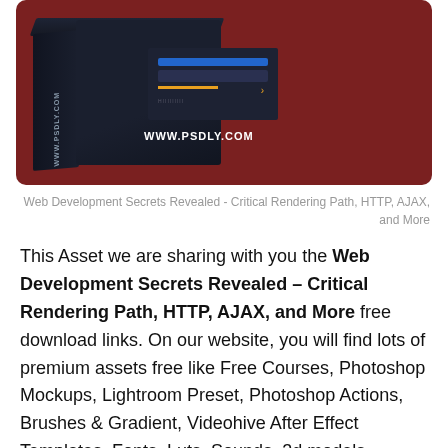[Figure (photo): A dark box/package product image with 'WWW.PSDLY.COM' text on a dark red/maroon background]
Web Development Secrets Revealed - Critical Rendering Path, HTTP, AJAX, and More
This Asset we are sharing with you the Web Development Secrets Revealed – Critical Rendering Path, HTTP, AJAX, and More free download links. On our website, you will find lots of premium assets free like Free Courses, Photoshop Mockups, Lightroom Preset, Photoshop Actions, Brushes & Gradient, Videohive After Effect Templates, Fonts, Luts, Sounds, 3d models, Plugins, and much more. Psdly.com is a free graphics content provider website that helps beginner graphic designers as well as